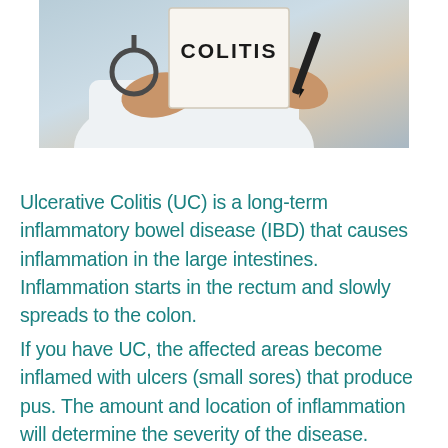[Figure (photo): A doctor in a white coat holding a clipboard or sign that reads 'COLITIS' in bold text, with a stethoscope visible nearby and a pen in hand, against a light clinical background.]
Ulcerative Colitis (UC) is a long-term inflammatory bowel disease (IBD) that causes inflammation in the large intestines. Inflammation starts in the rectum and slowly spreads to the colon.
If you have UC, the affected areas become inflamed with ulcers (small sores) that produce pus. The amount and location of inflammation will determine the severity of the disease. Patients